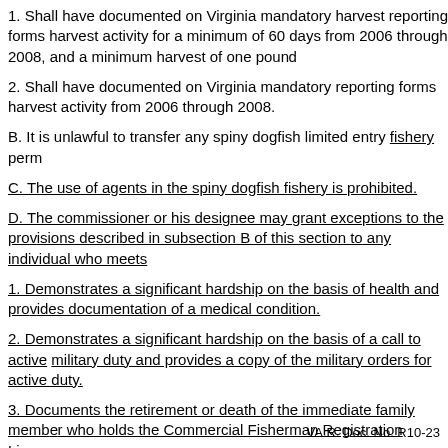1. Shall have documented on Virginia mandatory harvest reporting forms harvest activity for a minimum of 60 days from 2006 through 2008, and a minimum harvest of one pound of spiny dogfish.
2. Shall have documented on Virginia mandatory reporting forms harvest activity from 2006 through 2008.
B. It is unlawful to transfer any spiny dogfish limited entry fishery permit.
C. The use of agents in the spiny dogfish fishery is prohibited.
D. The commissioner or his designee may grant exceptions to the provisions described in subsection B of this section to any individual who meets the following criteria:
1. Demonstrates a significant hardship on the basis of health and provides documentation of a medical condition.
2. Demonstrates a significant hardship on the basis of a call to active military duty and provides a copy of the military orders for active duty.
3. Documents the retirement or death of the immediate family member who holds the Commercial Fisherman Registration License.
VA.R. Doc. No. R10-23